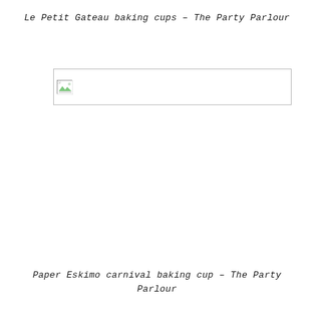Le Petit Gateau baking cups – The Party Parlour
[Figure (photo): Broken/unloaded image placeholder with small icon in top-left corner, wide rectangular border]
Paper Eskimo carnival baking cup – The Party Parlour